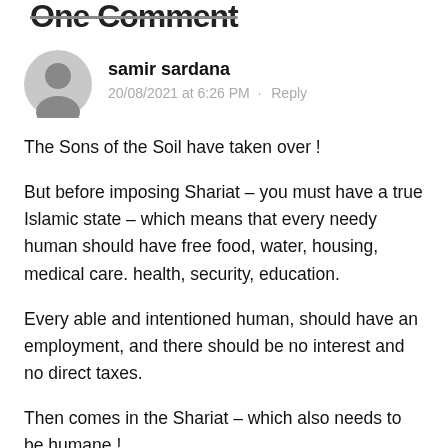One Comment
samir sardana
20/08/2021 at 6:26 PM · Reply
The Sons of the Soil have taken over !
But before imposing Shariat – you must have a true Islamic state – which means that every needy human should have free food, water, housing, medical care. health, security, education.
Every able and intentioned human, should have an employment, and there should be no interest and no direct taxes.
Then comes in the Shariat – which also needs to be humane !